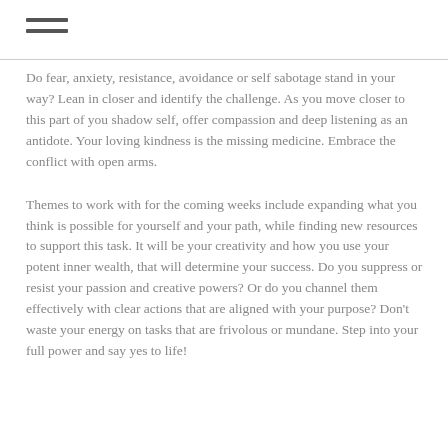Do fear, anxiety, resistance, avoidance or self sabotage stand in your way? Lean in closer and identify the challenge. As you move closer to this part of you shadow self, offer compassion and deep listening as an antidote. Your loving kindness is the missing medicine. Embrace the conflict with open arms.
Themes to work with for the coming weeks include expanding what you think is possible for yourself and your path, while finding new resources to support this task. It will be your creativity and how you use your potent inner wealth, that will determine your success. Do you suppress or resist your passion and creative powers? Or do you channel them effectively with clear actions that are aligned with your purpose? Don't waste your energy on tasks that are frivolous or mundane. Step into your full power and say yes to life!